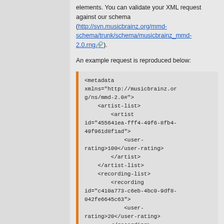elements. You can validate your XML request against our schema (http://svn.musicbrainz.org/mmd-schema/trunk/schema/musicbrainz_mmd-2.0.rng).
An example request is reproduced below:
<metadata xmlns="http://musicbrainz.org/ns/mmd-2.0#">
    <artist-list>
        <artist id="455641ea-fff4-49f6-8fb4-49f961d8f1ad">
            <user-rating>100</user-rating>
        </artist>
    </artist-list>
    <recording-list>
        <recording id="c410a773-c6eb-4bc0-9df8-042fe6645c63">
            <user-rating>20</user-rating>
        </recording>
    </recording-list>
</metadata>